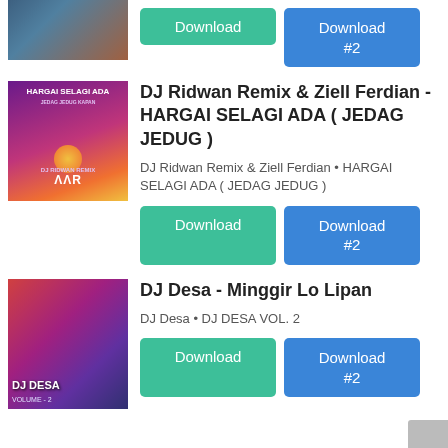[Figure (photo): Partial album art cropped at top of page]
Download
Download #2
[Figure (photo): Album art for HARGAI SELAGI ADA (JEDAG JEDUG) by DJ Ridwan Remix & Ziell Ferdian - purple/sunset gradient with sun]
DJ Ridwan Remix & Ziell Ferdian - HARGAI SELAGI ADA ( JEDAG JEDUG )
DJ Ridwan Remix & Ziell Ferdian • HARGAI SELAGI ADA ( JEDAG JEDUG )
Download
Download #2
[Figure (photo): Album art for DJ Desa - Minggir Lo Lipan (DJ DESA VOL. 2) - colorful portrait]
DJ Desa - Minggir Lo Lipan
DJ Desa • DJ DESA VOL. 2
Download
Download #2